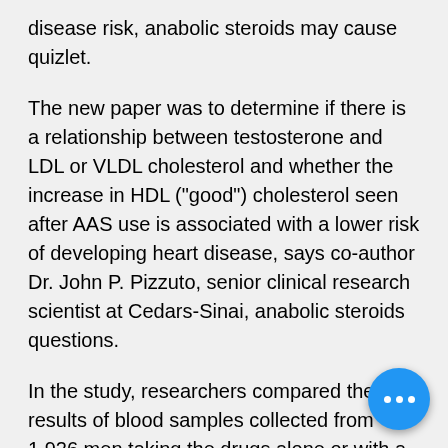disease risk, anabolic steroids may cause quizlet.
The new paper was to determine if there is a relationship between testosterone and LDL or VLDL cholesterol and whether the increase in HDL ("good") cholesterol seen after AAS use is associated with a lower risk of developing heart disease, says co-author Dr. John P. Pizzuto, senior clinical research scientist at Cedars-Sinai, anabolic steroids questions.
In the study, researchers compared the results of blood samples collected from 1,926 men taking the drugs alone or with a placebo for a period of two years to those from the same men taking dihydrotestosterone and cholesterol-lowering medication known as lovast…